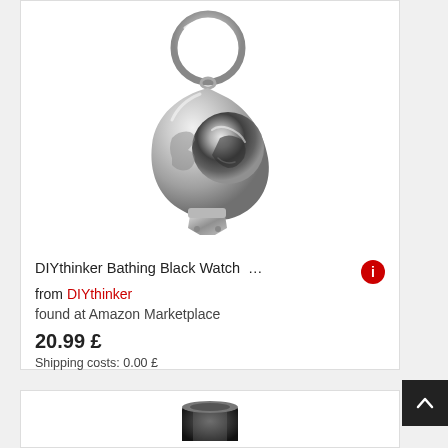[Figure (photo): Silver keychain with nail clipper/bottle opener multitool — shiny chrome finish, key ring at top]
DIYthinker Bathing Black Watch … from DIYthinker
found at Amazon Marketplace
20.99 £
Shipping costs: 0.00 £
[Figure (photo): Dark metallic ring/band product partially visible at bottom of page]